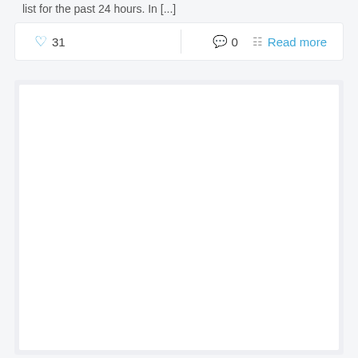list for the past 24 hours. In [...]
♡ 31   ◯ 0   ☰ Read more
[Figure (screenshot): A white rectangular card/image placeholder area with light gray background border]